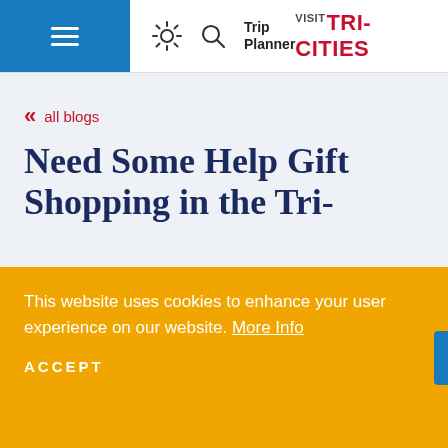Visit Tri-Cities — navigation header with hamburger menu, sun icon, search icon, Trip Planner, and VISIT TRI-CITIES logo
<< all blogs
Need Some Help Gift Shopping in the Tri-
This website uses cookies to enhance your user experience on our website. More Info
ACCEPT